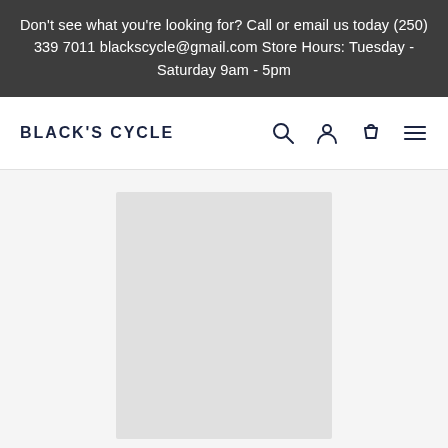Don't see what you're looking for? Call or email us today (250) 339 7011 blackscycle@gmail.com Store Hours: Tuesday - Saturday 9am - 5pm
BLACK'S CYCLE
[Figure (other): Product image placeholder — light grey rectangular area]